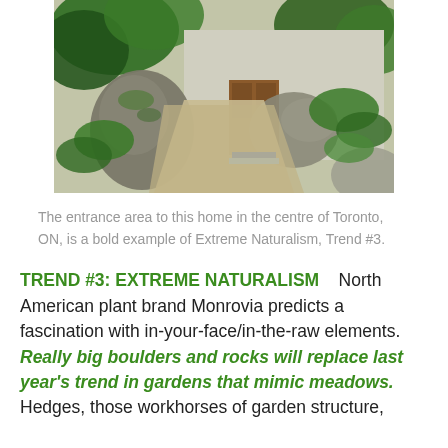[Figure (photo): Entrance area of a Toronto home with large boulders, lush greenery, ferns, and a gravel path leading to a wooden front door.]
The entrance area to this home in the centre of Toronto, ON, is a bold example of Extreme Naturalism, Trend #3.
TREND #3: EXTREME NATURALISM   North American plant brand Monrovia predicts a fascination with in-your-face/in-the-raw elements. Really big boulders and rocks will replace last year's trend in gardens that mimic meadows. Hedges, those workhorses of garden structure,